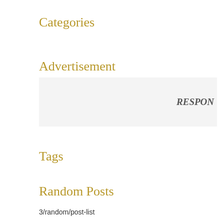Categories
Advertisement
[Figure (other): Advertisement placeholder box with text 'RESPON' partially visible on right side]
Tags
Random Posts
3/random/post-list
TutorialsDesk